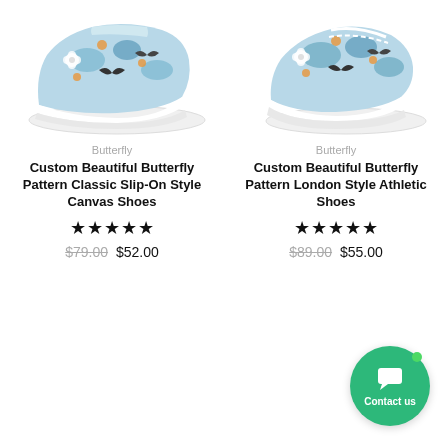[Figure (photo): Custom Beautiful Butterfly Pattern Classic Slip-On Style Canvas Shoes - floral butterfly print slip-on sneaker on white background]
[Figure (photo): Custom Beautiful Butterfly Pattern London Style Athletic Shoes - floral butterfly print athletic sneaker on white background]
Butterfly
Custom Beautiful Butterfly Pattern Classic Slip-On Style Canvas Shoes
★★★★★
$79.00 $52.00
Butterfly
Custom Beautiful Butterfly Pattern London Style Athletic Shoes
★★★★★
$89.00 $55.00
Contact us